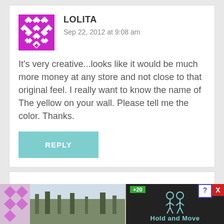[Figure (illustration): Magenta/pink decorative avatar icon with geometric quilt-like pattern (star/diamond shapes)]
LOLITA
Sep 22, 2012 at 9:08 am
It's very creative...looks like it would be much more money at any store and not close to that original feel. I really want to know the name of The yellow on your wall. Please tell me the color. Thanks.
REPLY
[Figure (screenshot): Bottom advertisement bar with partial avatar, nature photo, and video ad with Hold and Move label and close/question buttons]